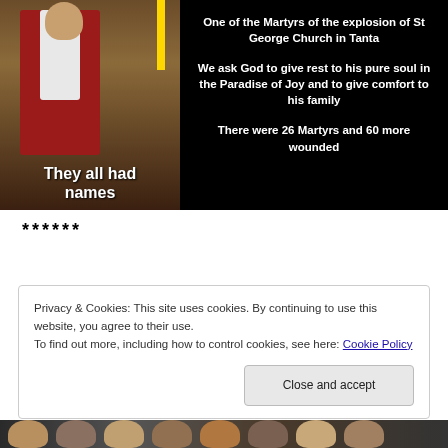[Figure (photo): Photo of a priest at an altar on the left, black background on the right with white bold text. Bottom of photo area shows 'They all had names'. Text on right reads: 'One of the Martyrs of the explosion of St George Church in Tanta. We ask God to give rest to his pure soul in the Paradise of Joy and to give comfort to his family. There were 26 Martyrs and 60 more wounded.']
******
Privacy & Cookies: This site uses cookies. By continuing to use this website, you agree to their use.
To find out more, including how to control cookies, see here: Cookie Policy
[Figure (photo): Bottom strip showing a group of people/faces in a dark photograph.]